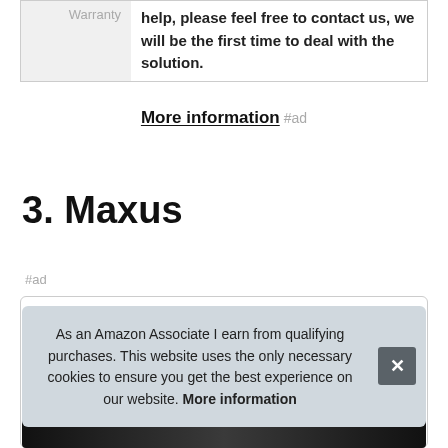|  |  |
| --- | --- |
| Warranty | help, please feel free to contact us, we will be the first time to deal with the solution. |
More information #ad
3. Maxus
#ad
As an Amazon Associate I earn from qualifying purchases. This website uses the only necessary cookies to ensure you get the best experience on our website. More information
[Figure (photo): Product image strip at bottom of page, dark background]